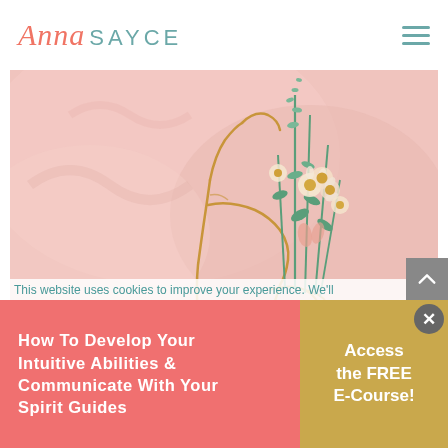[Figure (logo): Anna Sayce website logo — 'Anna' in coral italic script, 'SAYCE' in teal spaced sans-serif]
[Figure (illustration): Line art illustration of a woman holding wildflowers (daisies and lavender) against a soft pink watercolor background]
This website uses cookies to improve your experience. We'll
How to Develop your Intuitive Abilities & Communicate with your Spirit Guides
Access the FREE E-Course!